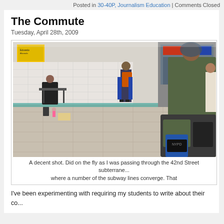Posted in 30-40P, Journalism Education | Comments Closed
The Commute
Tuesday, April 28th, 2009
[Figure (photo): A subway station scene, likely 42nd Street, showing a vendor/artist seated at a table with toys on the floor, a person with an orange backpack standing in the background near storefronts, and a person in the foreground with large bags/luggage.]
A decent shot. Did on the fly as I was passing through the 42nd Street subterrane... where a number of the subway lines converge. That
I've been experimenting with requiring my students to write about their co...